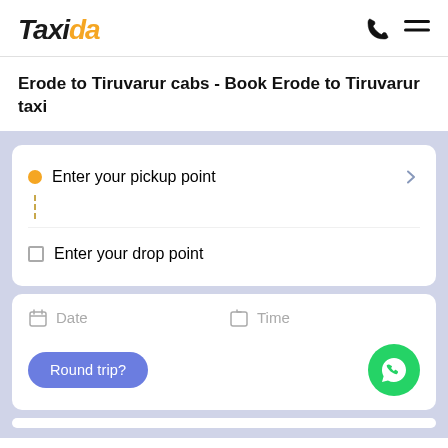Taxida
Erode to Tiruvarur cabs - Book Erode to Tiruvarur taxi
[Figure (screenshot): Taxi booking form with pickup point, drop point, date, time fields, and a round trip button. WhatsApp floating action button visible at bottom right.]